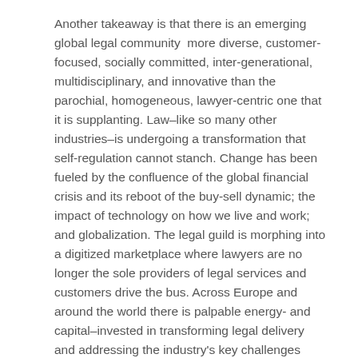Another takeaway is that there is an emerging global legal community  more diverse, customer-focused, socially committed, inter-generational, multidisciplinary, and innovative than the parochial, homogeneous, lawyer-centric one that it is supplanting. Law–like so many other industries–is undergoing a transformation that self-regulation cannot stanch. Change has been fueled by the confluence of the global financial crisis and its reboot of the buy-sell dynamic; the impact of technology on how we live and work; and globalization. The legal guild is morphing into a digitized marketplace where lawyers are no longer the sole providers of legal services and customers drive the bus. Across Europe and around the world there is palpable energy- and capital–invested in transforming legal delivery and addressing the industry's key challenges